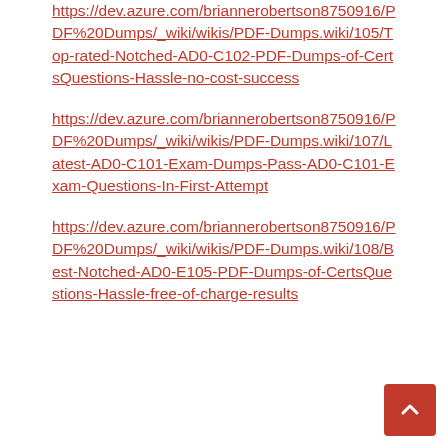https://dev.azure.com/briannerobertson8750916/PDF%20Dumps/_wiki/wikis/PDF-Dumps.wiki/105/Top-rated-Notched-AD0-C102-PDF-Dumps-of-CertsQuestions-Hassle-no-cost-success
https://dev.azure.com/briannerobertson8750916/PDF%20Dumps/_wiki/wikis/PDF-Dumps.wiki/107/Latest-AD0-C101-Exam-Dumps-Pass-AD0-C101-Exam-Questions-In-First-Attempt
https://dev.azure.com/briannerobertson8750916/PDF%20Dumps/_wiki/wikis/PDF-Dumps.wiki/108/Best-Notched-AD0-E105-PDF-Dumps-of-CertsQuestions-Hassle-free-of-charge-results